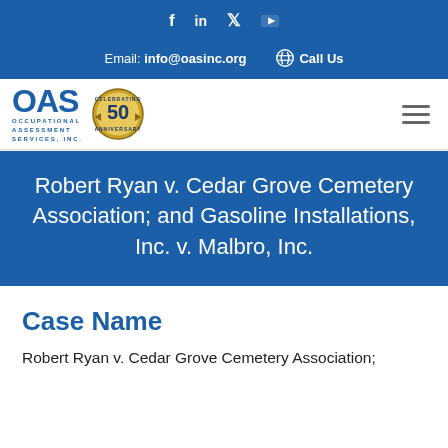f  in  ✓  ▶
Email: info@oasinc.org   Call Us
[Figure (logo): OAS Occupational Assessment Services Inc. logo with 50th anniversary badge]
Robert Ryan v. Cedar Grove Cemetery Association; and Gasoline Installations, Inc. v. Malbro, Inc.
Case Name
Robert Ryan v. Cedar Grove Cemetery Association;